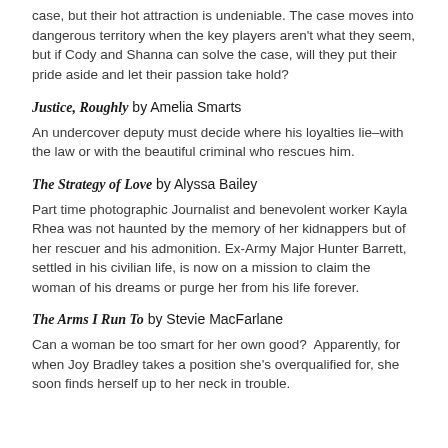case, but their hot attraction is undeniable. The case moves into dangerous territory when the key players aren't what they seem, but if Cody and Shanna can solve the case, will they put their pride aside and let their passion take hold?
Justice, Roughly by Amelia Smarts
An undercover deputy must decide where his loyalties lie–with the law or with the beautiful criminal who rescues him.
The Strategy of Love by Alyssa Bailey
Part time photographic Journalist and benevolent worker Kayla Rhea was not haunted by the memory of her kidnappers but of her rescuer and his admonition. Ex-Army Major Hunter Barrett, settled in his civilian life, is now on a mission to claim the woman of his dreams or purge her from his life forever.
The Arms I Run To by Stevie MacFarlane
Can a woman be too smart for her own good?  Apparently, for when Joy Bradley takes a position she's overqualified for, she soon finds herself up to her neck in trouble.